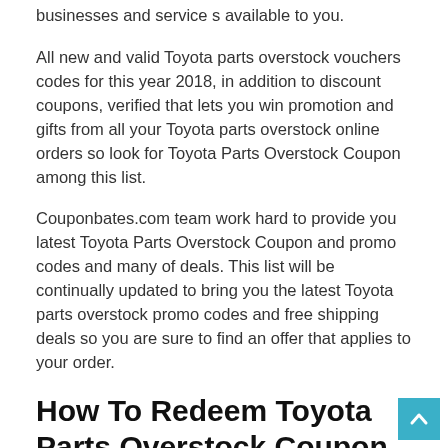businesses and service s available to you.
All new and valid Toyota parts overstock vouchers codes for this year 2018, in addition to discount coupons, verified that lets you win promotion and gifts from all your Toyota parts overstock online orders so look for Toyota Parts Overstock Coupon among this list.
Couponbates.com team work hard to provide you latest Toyota Parts Overstock Coupon and promo codes and many of deals. This list will be continually updated to bring you the latest Toyota parts overstock promo codes and free shipping deals so you are sure to find an offer that applies to your order.
How To Redeem Toyota Parts Overstock Coupon codes
1, Follow the link to Toyota Parts Overstock website.